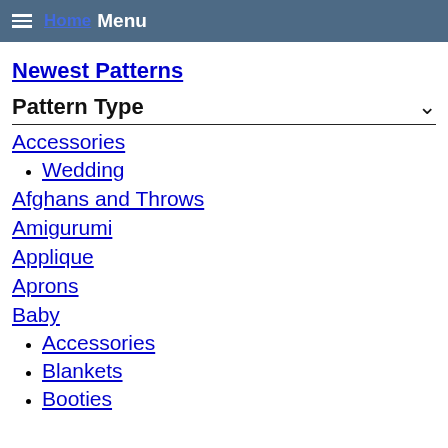Home Menu
Newest Patterns
Pattern Type
Accessories
Wedding
Afghans and Throws
Amigurumi
Applique
Aprons
Baby
Accessories
Blankets
Booties